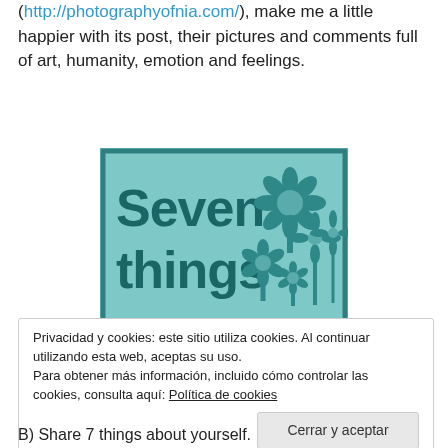(http://photographyofnia.com/), make me a little happier with its post, their pictures and comments full of art, humanity, emotion and feelings.
[Figure (illustration): Decorative image with teal/light-blue background and darker teal text reading 'Seven things about me.' with stylized flower illustrations on the right side.]
Privacidad y cookies: este sitio utiliza cookies. Al continuar utilizando esta web, aceptas su uso.
Para obtener más información, incluido cómo controlar las cookies, consulta aquí: Política de cookies
[Button: Cerrar y aceptar]
B) Share 7 things about yourself.